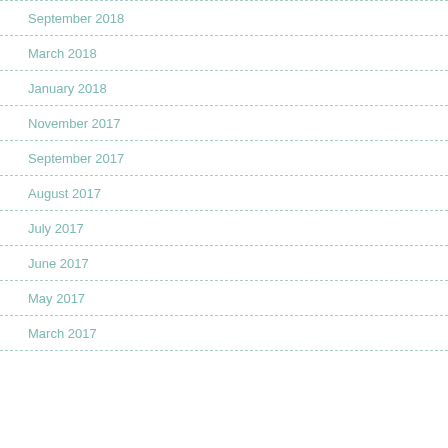September 2018
March 2018
January 2018
November 2017
September 2017
August 2017
July 2017
June 2017
May 2017
March 2017